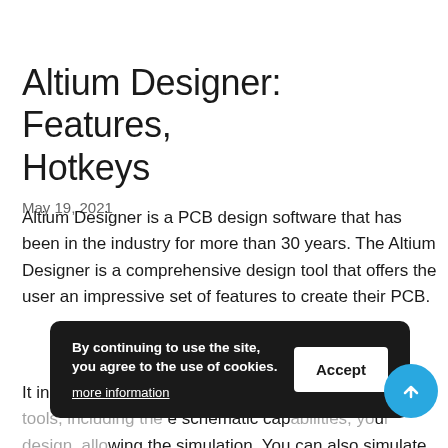Altium Designer: Features, Hotkeys
May 19, 2021
Altium Designer is a PCB design software that has been in the industry for more than 30 years. The Altium Designer is a comprehensive design tool that offers the user an impressive set of features to create their PCB.
It includes many tools and functions to help with design, including schematic capture, allowing the schematic capabilities, you can draw, allowing the simulation. You can also simulate your circuit before you
[Figure (screenshot): Cookie consent banner overlay with dark background. Text reads: 'By continuing to use the site, you agree to the use of cookies.' with 'more information' link and 'Accept' button. A blue circular scroll-to-top arrow button appears at the bottom right.]